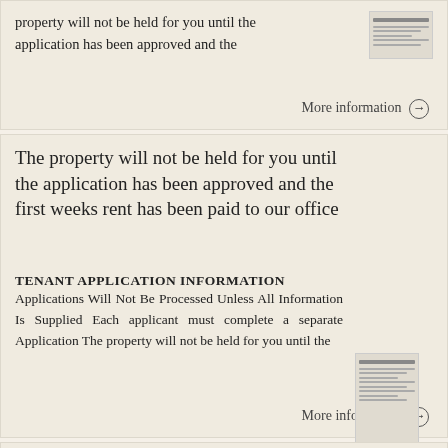property will not be held for you until the application has been approved and the
More information →
The property will not be held for you until the application has been approved and the first weeks rent has been paid to our office
TENANT APPLICATION INFORMATION Applications Will Not Be Processed Unless All Information Is Supplied Each applicant must complete a separate Application The property will not be held for you until the
More information →
PLEASE NOTE: YOU MUST INCLUDE AT LEAST TWO ITEMS FROM EACH SECTION.